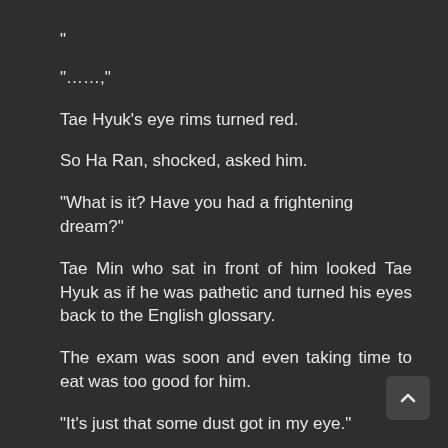“
“······”
Tae Hyuk’s eye rims turned red.
So Ha Ran, shocked, asked him.
“What is it? Have you had a frightening dream?”
Tae Min who sat in front of him looked Tae Hyuk as if he was pathetic and turned his eyes back to the English glossary.
The exam was soon and even taking time to eat was too good for him.
“It’s just that some dust got in my eye.”
The breakfast menu was Kimchi Jjigae. You could